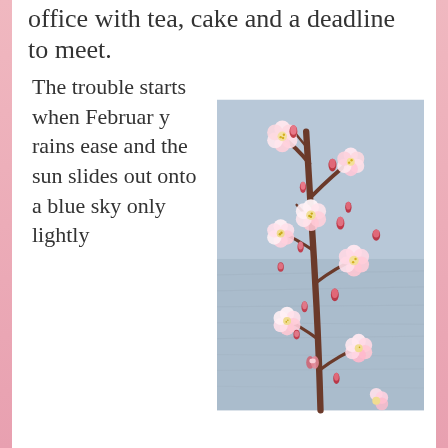office with tea, cake and a deadline to meet.
The trouble starts when February rains ease and the sun slides out onto a blue sky only lightly
[Figure (photo): Close-up photograph of a cherry blossom branch with white and pink flowers and red-tipped buds against a grey-blue background]